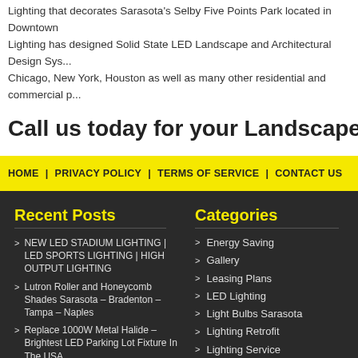Lighting that decorates Sarasota's Selby Five Points Park located in Downtown Lighting has designed Solid State LED Landscape and Architectural Design Systems Chicago, New York, Houston as well as many other residential and commercial
Call us today for your Landscape Lighting Project
HOME | PRIVACY POLICY | TERMS OF SERVICE | CONTACT US
Recent Posts
NEW LED STADIUM LIGHTING | LED SPORTS LIGHTING | HIGH OUTPUT LIGHTING
Lutron Roller and Honeycomb Shades Sarasota – Bradenton – Tampa – Naples
Replace 1000W Metal Halide – Brightest LED Parking Lot Fixture In The USA
Categories
Energy Saving
Gallery
Leasing Plans
LED Lighting
Light Bulbs Sarasota
Lighting Retrofit
Lighting Service